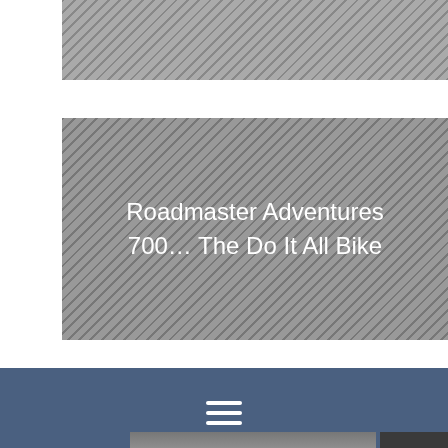[Figure (photo): Top banner image placeholder with diagonal striped grey pattern]
[Figure (photo): Main hero banner with diagonal striped grey background containing text 'Roadmaster Adventures 700… The Do It All Bike' in white]
Roadmaster Adventures 700… The Do It All Bike
[Figure (infographic): Dark blue/slate navigation bar with hamburger menu icon (three horizontal white lines)]
[Figure (photo): Bottom partial image showing a cargo plane being loaded, with an American Airlines color scheme (red/yellow/blue stripes)]
[Figure (infographic): Dark box with text 'WITHOUT REGARD TO' in gold/yellow and subtitle text below]